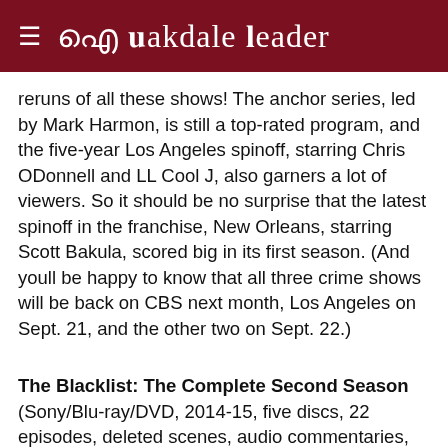≡ Oakdale Leader
reruns of all these shows! The anchor series, led by Mark Harmon, is still a top-rated program, and the five-year Los Angeles spinoff, starring Chris ODonnell and LL Cool J, also garners a lot of viewers. So it should be no surprise that the latest spinoff in the franchise, New Orleans, starring Scott Bakula, scored big in its first season. (And youll be happy to know that all three crime shows will be back on CBS next month, Los Angeles on Sept. 21, and the other two on Sept. 22.)
The Blacklist: The Complete Second Season (Sony/Blu-ray/DVD, 2014-15, five discs, 22 episodes, deleted scenes, audio commentaries, featurettes). James Spader is creepy ex-government agent Red Reddington who became Americas most wanted criminal before surrendering in the first season to help a secret agency find terrorists, but only if he was partnered with rookie profiler Agent Keen (Megan Boone). Of course, he manipulated everyone until the FBI was working for him to take